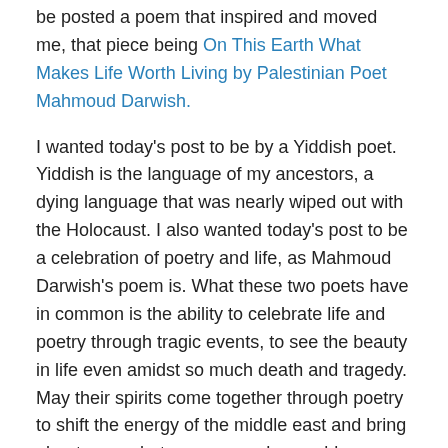be posted a poem that inspired and moved me, that piece being On This Earth What Makes Life Worth Living by Palestinian Poet Mahmoud Darwish.
I wanted today's post to be by a Yiddish poet. Yiddish is the language of my ancestors, a dying language that was nearly wiped out with the Holocaust. I also wanted today's post to be a celebration of poetry and life, as Mahmoud Darwish's poem is. What these two poets have in common is the ability to celebrate life and poetry through tragic events, to see the beauty in life even amidst so much death and tragedy. May their spirits come together through poetry to shift the energy of the middle east and bring about peace between men who would otherwise be brothers.
Want to read more by and about Aaron Zeitlin?
YiddishPoetry.org